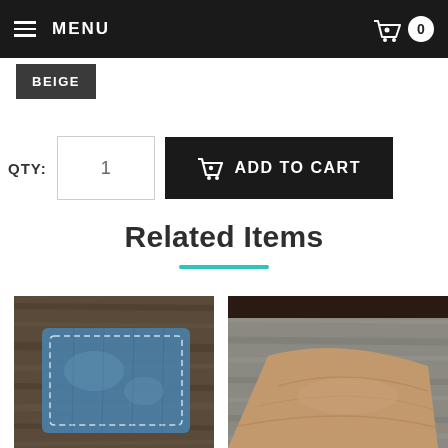MENU | 0
BEIGE
QTY: 1  ADD TO CART
Related Items
[Figure (photo): Blue leather wallet on dark wood surface]
[Figure (photo): Tan/beige leather item on grey wood surface]